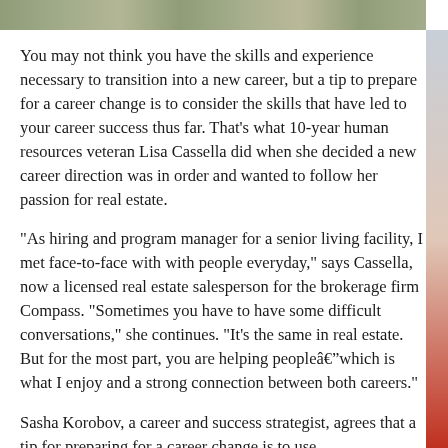[Figure (photo): Photo strip at the top of the page showing people outdoors]
You may not think you have the skills and experience necessary to transition into a new career, but a tip to prepare for a career change is to consider the skills that have led to your career success thus far. That’s what 10-year human resources veteran Lisa Cassella did when she decided a new career direction was in order and wanted to follow her passion for real estate.
“As hiring and program manager for a senior living facility, I met face-to-face with with people everyday,” says Cassella, now a licensed real estate salesperson for the brokerage firm Compass. “Sometimes you have to have some difficult conversations,” she continues. “It’s the same in real estate. But for the most part, you are helping peopleâwhich is what I enjoy and a strong connection between both careers.”
Sasha Korobov, a career and success strategist, agrees that a tip for preparing for a career change is to use